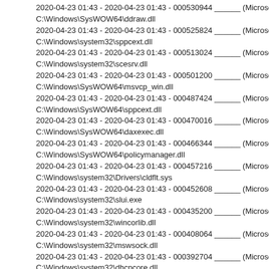2020-04-23 01:43 - 2020-04-23 01:43 - 000530944 ______ (Microsoft Cor
C:\Windows\SysWOW64\ddraw.dll
2020-04-23 01:43 - 2020-04-23 01:43 - 000525824 ______ (Microsoft Cor
C:\Windows\system32\sppcext.dll
2020-04-23 01:43 - 2020-04-23 01:43 - 000513024 ______ (Microsoft Cor
C:\Windows\system32\scesrv.dll
2020-04-23 01:43 - 2020-04-23 01:43 - 000501200 ______ (Microsoft Cor
C:\Windows\SysWOW64\msvcp_win.dll
2020-04-23 01:43 - 2020-04-23 01:43 - 000487424 ______ (Microsoft Cor
C:\Windows\SysWOW64\sppcext.dll
2020-04-23 01:43 - 2020-04-23 01:43 - 000470016 ______ (Microsoft Cor
C:\Windows\SysWOW64\daxexec.dll
2020-04-23 01:43 - 2020-04-23 01:43 - 000466344 ______ (Microsoft Cor
C:\Windows\SysWOW64\policymanager.dll
2020-04-23 01:43 - 2020-04-23 01:43 - 000457216 ______ (Microsoft Cor
C:\Windows\system32\Drivers\cldflt.sys
2020-04-23 01:43 - 2020-04-23 01:43 - 000452608 ______ (Microsoft Cor
C:\Windows\system32\slui.exe
2020-04-23 01:43 - 2020-04-23 01:43 - 000435200 ______ (Microsoft Cor
C:\Windows\system32\wincorlib.dll
2020-04-23 01:43 - 2020-04-23 01:43 - 000408064 ______ (Microsoft Cor
C:\Windows\system32\mswsock.dll
2020-04-23 01:43 - 2020-04-23 01:43 - 000392704 ______ (Microsoft Cor
C:\Windows\system32\dhcpcore.dll
2020-04-23 01:43 - 2020-04-23 01:43 - 000384000 ______ (Microsoft Cor
C:\Windows\SysWOW64\scesrv.dll
2020-04-23 01:43 - 2020-04-23 01:43 - 000375520 ______ (Microsoft Cor
C:\Windows\SysWOW64\AUDIOKSE.dll